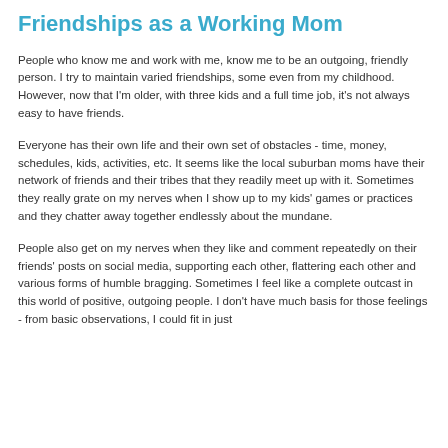Friendships as a Working Mom
People who know me and work with me, know me to be an outgoing, friendly person. I try to maintain varied friendships, some even from my childhood. However, now that I'm older, with three kids and a full time job, it's not always easy to have friends.
Everyone has their own life and their own set of obstacles - time, money, schedules, kids, activities, etc. It seems like the local suburban moms have their network of friends and their tribes that they readily meet up with it. Sometimes they really grate on my nerves when I show up to my kids' games or practices and they chatter away together endlessly about the mundane.
People also get on my nerves when they like and comment repeatedly on their friends' posts on social media, supporting each other, flattering each other and various forms of humble bragging. Sometimes I feel like a complete outcast in this world of positive, outgoing people. I don't have much basis for those feelings - from basic observations, I could fit in just